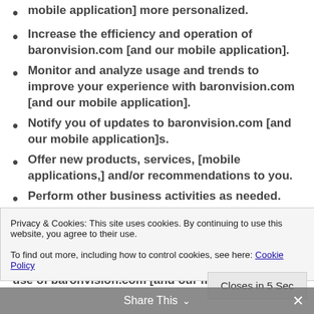mobile application] more personalized.
Increase the efficiency and operation of baronvision.com [and our mobile application].
Monitor and analyze usage and trends to improve your experience with baronvision.com [and our mobile application].
Notify you of updates to baronvision.com [and our mobile application]s.
Offer new products, services, [mobile applications,] and/or recommendations to you.
Perform other business activities as needed.
Privacy & Cookies: This site uses cookies. By continuing to use this website, you agree to their use.
To find out more, including how to control cookies, see here: Cookie Policy
Closes in 5 Sec
Share This
use of baronvision.com [and our mobile